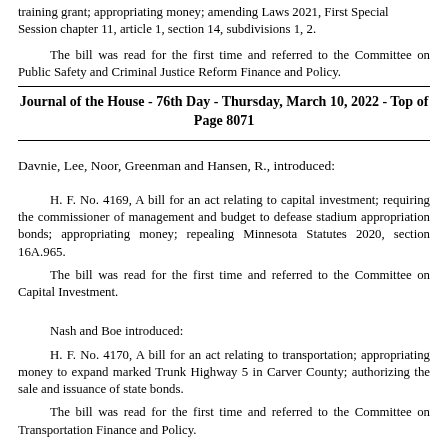training grant; appropriating money; amending Laws 2021, First Special Session chapter 11, article 1, section 14, subdivisions 1, 2.
The bill was read for the first time and referred to the Committee on Public Safety and Criminal Justice Reform Finance and Policy.
Journal of the House - 76th Day - Thursday, March 10, 2022 - Top of Page 8071
Davnie, Lee, Noor, Greenman and Hansen, R., introduced:
H. F. No. 4169, A bill for an act relating to capital investment; requiring the commissioner of management and budget to defease stadium appropriation bonds; appropriating money; repealing Minnesota Statutes 2020, section 16A.965.
The bill was read for the first time and referred to the Committee on Capital Investment.
Nash and Boe introduced:
H. F. No. 4170, A bill for an act relating to transportation; appropriating money to expand marked Trunk Highway 5 in Carver County; authorizing the sale and issuance of state bonds.
The bill was read for the first time and referred to the Committee on Transportation Finance and Policy.